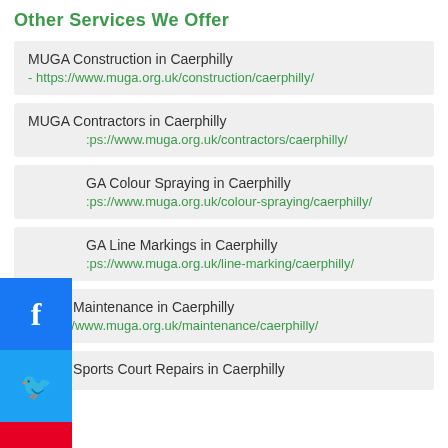Other Services We Offer
MUGA Construction in Caerphilly - https://www.muga.org.uk/construction/caerphilly/
MUGA Contractors in Caerphilly - https://www.muga.org.uk/contractors/caerphilly/
MGA Colour Spraying in Caerphilly - https://www.muga.org.uk/colour-spraying/caerphilly/
GA Line Markings in Caerphilly - https://www.muga.org.uk/line-marking/caerphilly/
MUGA Maintenance in Caerphilly - https://www.muga.org.uk/maintenance/caerphilly/
MUGA Sports Court Repairs in Caerphilly